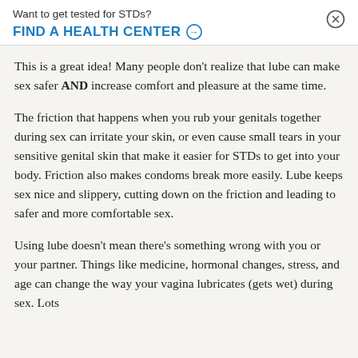Want to get tested for STDs?
FIND A HEALTH CENTER →
This is a great idea! Many people don't realize that lube can make sex safer AND increase comfort and pleasure at the same time.
The friction that happens when you rub your genitals together during sex can irritate your skin, or even cause small tears in your sensitive genital skin that make it easier for STDs to get into your body. Friction also makes condoms break more easily. Lube keeps sex nice and slippery, cutting down on the friction and leading to safer and more comfortable sex.
Using lube doesn't mean there's something wrong with you or your partner. Things like medicine, hormonal changes, stress, and age can change the way your vagina lubricates (gets wet) during sex. Lots